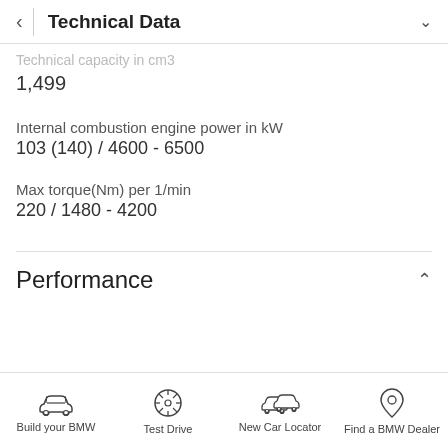Technical Data
Technical capacity in cm3
1,499
Internal combustion engine power in kW
103 (140) / 4600 - 6500
Max torque(Nm) per 1/min
220 / 1480 - 4200
Performance
Build your BMW  Test Drive  New Car Locator  Find a BMW Dealer